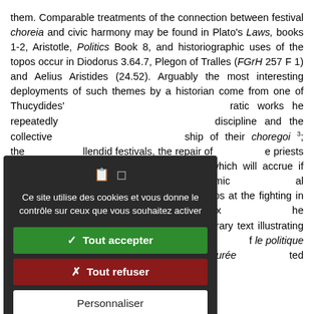them. Comparable treatments of the connection between festival choreia and civic harmony may be found in Plato's Laws, books 1-2, Aristotle, Politics Book 8, and historiographic uses of the topos occur in Diodorus 3.64.7, Plegon of Tralles (FGrH 257 F 1) and Aelius Aristides (24.52). Arguably the most interesting deployments of such themes by a historian come from one of Thucydides' ...ratic works he repeatedly ...discipline and the collective ...ship of their choregoi³; the ...llendid festivals, the repair of ...e priests of their ancestral ...s which will accrue if Athens ...ce and sensible economic ...al moment of stasis in the ...eokritos at the fighting in the ...2.4.20-2). For Nicole Loraux ...he Athenian stasis and its ...emporary text illustrating the ...storians, the male world of ...f le politique and histoire ...ty, where the longue durée ...ted between these worlds, in
[Figure (screenshot): Cookie consent overlay with dark background. Contains icons, message in French 'Ce site utilise des cookies et vous donne le contrôle sur ceux que vous souhaitez activer', green 'Tout accepter' button, red 'Tout refuser' button, white 'Personnaliser' button, and 'Politique de confidentialité' link.]